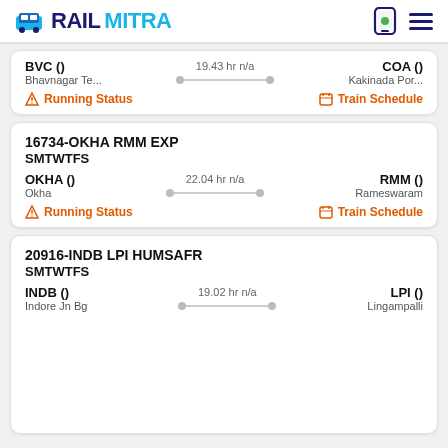RAILMITRA
BVC () 19.43 hr n/a COA () Bhavnagar Te... Kakinada Por...
Running Status | Train Schedule
16734-OKHA RMM EXP SMTWTFS
OKHA () 22.04 hr n/a RMM () Okha Rameswaram
Running Status | Train Schedule
20916-INDB LPI HUMSAFR SMTWTFS
INDB () 19.02 hr n/a LPI () Indore Jn Bg Lingampalli